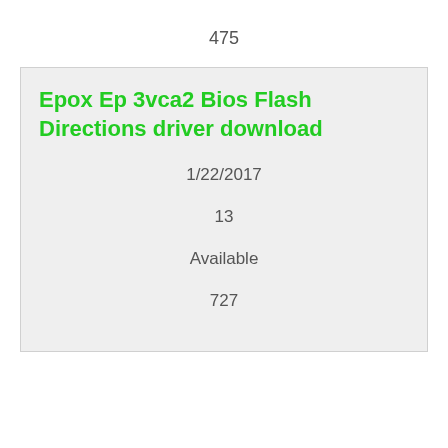475
Epox Ep 3vca2 Bios Flash Directions driver download
1/22/2017
13
Available
727